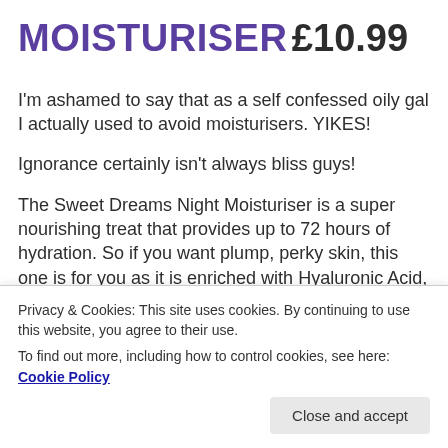MOISTURISER £10.99
I'm ashamed to say that as a self confessed oily gal I actually used to avoid moisturisers. YIKES!
Ignorance certainly isn't always bliss guys!
The Sweet Dreams Night Moisturiser is a super nourishing treat that provides up to 72 hours of hydration. So if you want plump, perky skin, this one is for you as it is enriched with Hyaluronic Acid, Squalane, Wild Hibiscus Flower and Algae for all of the moisture
Privacy & Cookies: This site uses cookies. By continuing to use this website, you agree to their use.
To find out more, including how to control cookies, see here: Cookie Policy